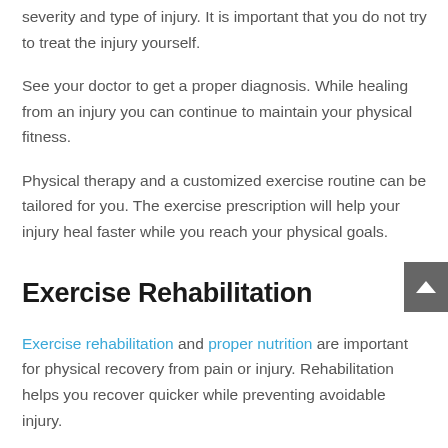severity and type of injury. It is important that you do not try to treat the injury yourself.
See your doctor to get a proper diagnosis. While healing from an injury you can continue to maintain your physical fitness.
Physical therapy and a customized exercise routine can be tailored for you. The exercise prescription will help your injury heal faster while you reach your physical goals.
Exercise Rehabilitation
Exercise rehabilitation and proper nutrition are important for physical recovery from pain or injury. Rehabilitation helps you recover quicker while preventing avoidable injury.